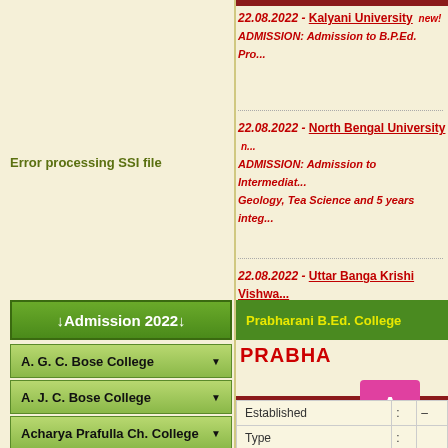Error processing SSI file
22.08.2022 - Kalyani University new!
ADMISSION: Admission to B.P.Ed. Pro...
22.08.2022 - North Bengal University n...
ADMISSION: Admission to Intermediate...
Geology, Tea Science and 5 years integ...
22.08.2022 - Uttar Banga Krishi Vishwa...
ADMISSION: Admission to M.Sc. (Agri...
2023.
↓ Admission 2022 ↓
A. G. C. Bose College
A. J. C. Bose College
Acharya Prafulla Ch. College
Ananda Mohan College
Asutosh College
Bangabasi College
Bangabasi Evening College
Prabharani B.Ed. College
PRABHA
|  | : |  |
| --- | --- | --- |
| Established | : | — |
| Type | : |  |